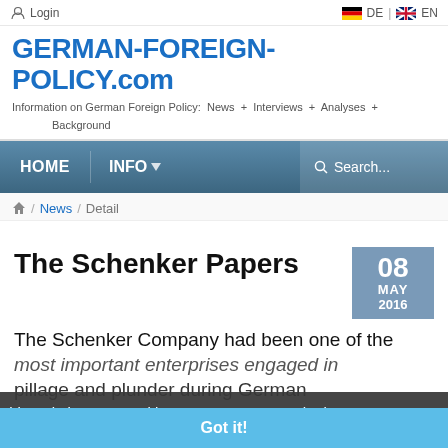Login | DE | EN
GERMAN-FOREIGN-POLICY.com
Information on German Foreign Policy: News + Interviews + Analyses + Background
[Figure (screenshot): Navigation bar with HOME and INFO menu items and Search field over a dark blue background image of columns]
/ News / Detail
The Schenker Papers
08 MAY 2016
The Schenker Company had been one of the most important enterprises engaged in pillage and plunder during German aggressions and many times throughout Europe in the period from 1939 to 1945. This
This website uses cookies to ensure you get the best experience on our website.
Got it!